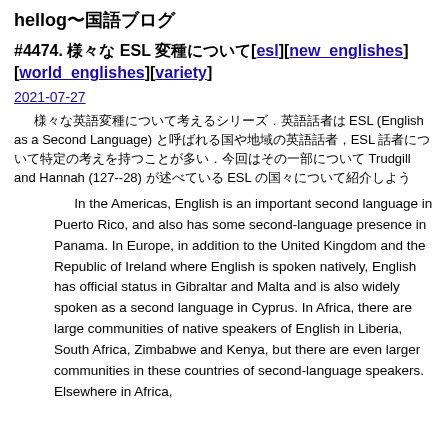hellog〜国語ブログ
#4474. 様々な ESL 変種について[esl][new_englishes][world_englishes][variety]
2021-07-27
様々な英語変種について考えるシリーズ．英語話者は ESL (English as a Second Language) と呼ばれる国や地域の英語話者，ESL 話者について特定の考えを持つことが多い．今回はその一部について Trudgill and Hannah (127--28) が述べている ESL の国々について紹介しよう
In the Americas, English is an important second language in Puerto Rico, and also has some second-language presence in Panama. In Europe, in addition to the United Kingdom and the Republic of Ireland where English is spoken natively, English has official status in Gibraltar and Malta and is also widely spoken as a second language in Cyprus. In Africa, there are large communities of native speakers of English in Liberia, South Africa, Zimbabwe and Kenya, but there are even larger communities in these countries of second-language speakers. Elsewhere in Africa,